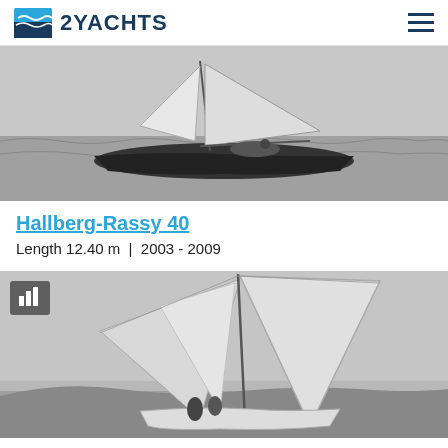2YACHTS
[Figure (photo): Black and white photograph of a Hallberg-Rassy 40 sailboat sailing on open water with full sails, viewed from the side]
Hallberg-Rassy 40
Length 12.40 m  |  2003 - 2009
[Figure (photo): Black and white photograph of a sailboat with large sails, showing a close-up view of the sails and crew with a coastline in the background. A statistics/chart icon overlay is visible in the top-left corner of the image.]